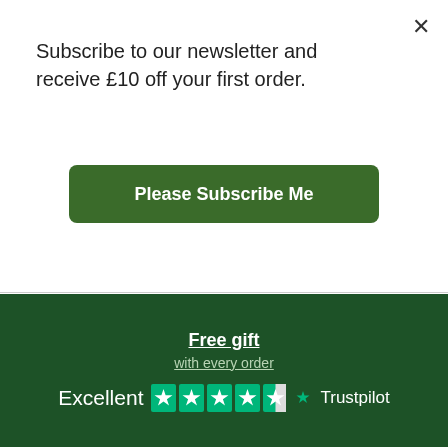Subscribe to our newsletter and receive £10 off your first order.
Please Subscribe Me
[Figure (infographic): Green banner with 'Free gift with every order' text underlined, and Trustpilot Excellent rating with 4.5 stars]
Containing Safflower, Portulacca, Green Tea, Ginkgo Biloba, Arnica and Lavender this superbly light-textured, non
This site uses cookies. By continuing to browse the site are agreeing to our use of cookies. More information
Continue
an after-shaving 'must'. Recommended for all skin types